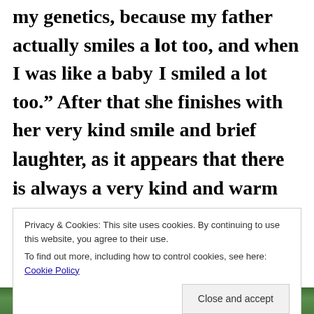my genetics, because my father actually smiles a lot too, and when I was like a baby I smiled a lot too.” After that she finishes with her very kind smile and brief laughter, as it appears that there is always a very kind and warm inspiration coming out of her all of the time.
Privacy & Cookies: This site uses cookies. By continuing to use this website, you agree to their use. To find out more, including how to control cookies, see here: Cookie Policy
[Figure (photo): Photo strip at the bottom of the page showing green foliage/nature background]